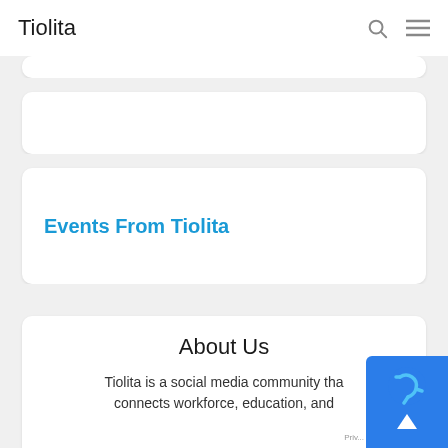Tiolita
Events From Tiolita
About Us
Tiolita is a social media community that connects workforce, education, and